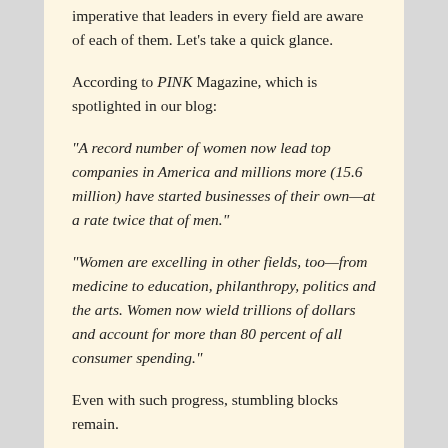imperative that leaders in every field are aware of each of them. Let's take a quick glance.
According to PINK Magazine, which is spotlighted in our blog:
“A record number of women now lead top companies in America and millions more (15.6 million) have started businesses of their own—at a rate twice that of men.”
“Women are excelling in other fields, too—from medicine to education, philanthropy, politics and the arts. Women now wield trillions of dollars and account for more than 80 percent of all consumer spending.”
Even with such progress, stumbling blocks remain.
Think pay (75 cents vs. one dollar.) I have never understood this one and never will. So many of our clients, in a wide variety of industries, are currently being led very successfully by women at a number of levels